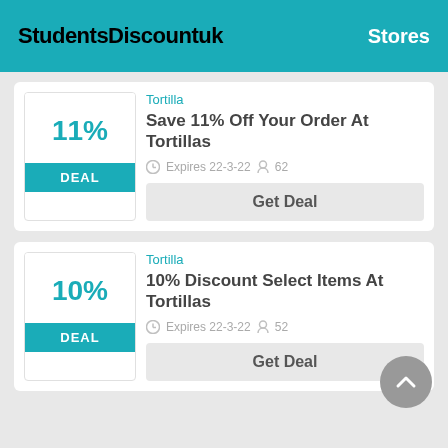StudentsDiscountuk    Stores
Tortilla
Save 11% Off Your Order At Tortillas
Expires 22-3-22   62
Get Deal
Tortilla
10% Discount Select Items At Tortillas
Expires 22-3-22   52
Get Deal